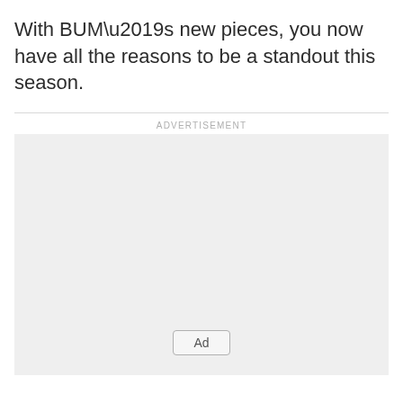With BUM’s new pieces, you now have all the reasons to be a standout this season.
[Figure (other): Advertisement placeholder box with 'Ad' button label]